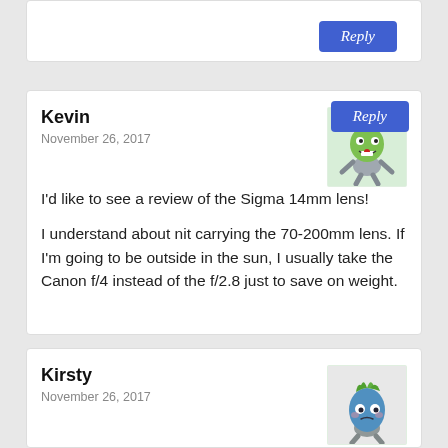[Figure (other): Reply button (blue) at top of partial comment card]
Kevin
November 26, 2017
[Figure (illustration): Green apple monster avatar cartoon]
I'd like to see a review of the Sigma 14mm lens!
I understand about nit carrying the 70-200mm lens. If I'm going to be outside in the sun, I usually take the Canon f/4 instead of the f/2.8 just to save on weight.
[Figure (other): Reply button (blue) at bottom of Kevin's comment]
Kirsty
November 26, 2017
[Figure (illustration): Blue turnip/beet monster avatar cartoon]
Another vote here to keep the photography articles. I upgraded from mirrorless to full frame this year and